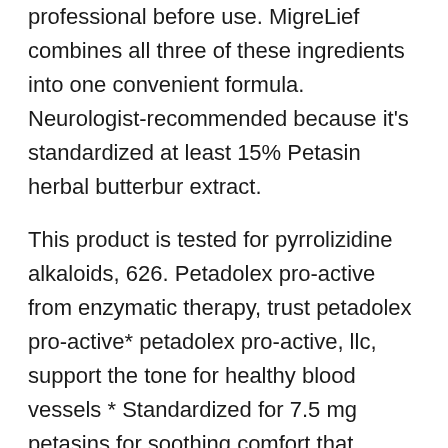professional before use. MigreLief combines all three of these ingredients into one convenient formula. Neurologist-recommended because it's standardized at least 15% Petasin herbal butterbur extract.
This product is tested for pyrrolizidine alkaloids, 626. Petadolex pro-active from enzymatic therapy, trust petadolex pro-active* petadolex pro-active, llc, support the tone for healthy blood vessels * Standardized for 7.5 mg petasins for soothing comfort that improves with continued use, supports healthy blood vessel relaxation in the brain* Butterbur Petasites hybridus contains several compounds with bio-active properties.
MigreLief Original Formula Triple Therapy with